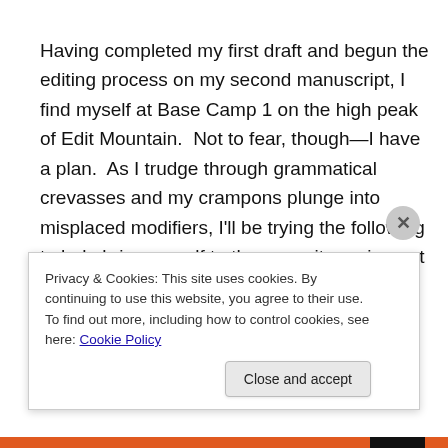Having completed my first draft and begun the editing process on my second manuscript, I find myself at Base Camp 1 on the high peak of Edit Mountain.  Not to fear, though—I have a plan.  As I trudge through grammatical crevasses and my crampons plunge into misplaced modifiers, I'll be trying the following to help bring myself to the summit peering out from the misty distance: Final Draft.
1) My first goal in editing this manuscript is to go through
Privacy & Cookies: This site uses cookies. By continuing to use this website, you agree to their use.
To find out more, including how to control cookies, see here: Cookie Policy
Close and accept